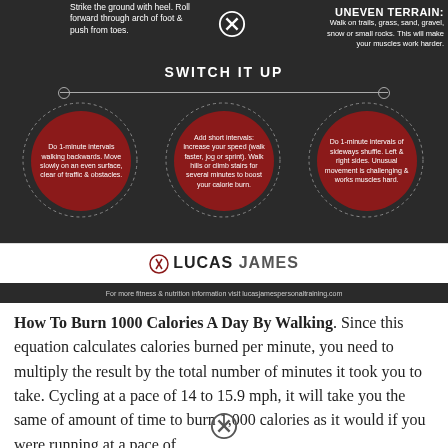Strike the ground with heel. Roll forward through arch of foot & push from toes.
UNEVEN TERRAIN:
Walk on trails, grass, sand, gravel, snow or small rocks. This will make your muscles work harder.
SWITCH IT UP
[Figure (infographic): Three red circles with dotted borders showing walking variation tips: 1) Do 1-minute intervals walking backwards. Move slowly on an even surface, clear of traffic & obstacles. 2) Add short intervals: Increase your speed (walk faster, jog or sprint). Walk hills or climb stairs for several minutes to boost your calorie burn. 3) Do 1-minute intervals of sideways shuffle. Left & right sides. Unusual movement is challenging & works muscles hard.]
For more fitness & nutrition information visit lucasjamespersonaltraining.com
How To Burn 1000 Calories A Day By Walking. Since this equation calculates calories burned per minute, you need to multiply the result by the total number of minutes it took you to take. Cycling at a pace of 14 to 15.9 mph, it will take you the same of amount of time to burn 1,000 calories as it would if you were running at a pace of